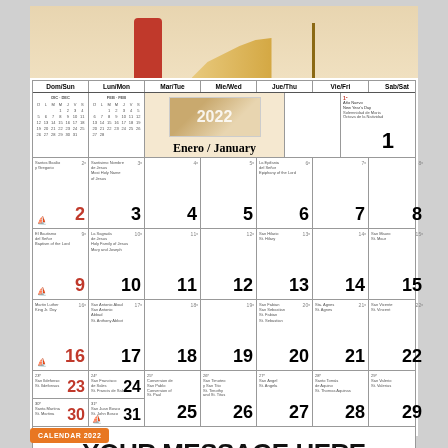[Figure (illustration): Top portion of a religious calendar page showing classical figures in robes near steps]
[Figure (other): January 2022 calendar grid with Enero/January header, mini calendars for December and February, religious imagery, and numbered days 1-31 with saint name entries]
YOUR MESSAGE HERE
CALENDAR 2022